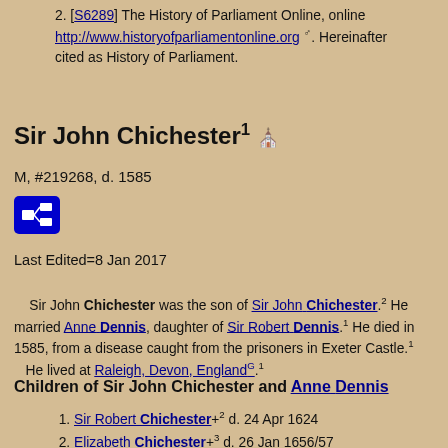2. [S6289] The History of Parliament Online, online http://www.historyofparliamentonline.org. Hereinafter cited as History of Parliament.
Sir John Chichester¹
M, #219268, d. 1585
Last Edited=8 Jan 2017
Sir John Chichester was the son of Sir John Chichester.² He married Anne Dennis, daughter of Sir Robert Dennis.¹ He died in 1585, from a disease caught from the prisoners in Exeter Castle.¹ He lived at Raleigh, Devon, England^G.¹
Children of Sir John Chichester and Anne Dennis
1. Sir Robert Chichester+² d. 24 Apr 1624
2. Elizabeth Chichester+³ d. 26 Jan 1656/57